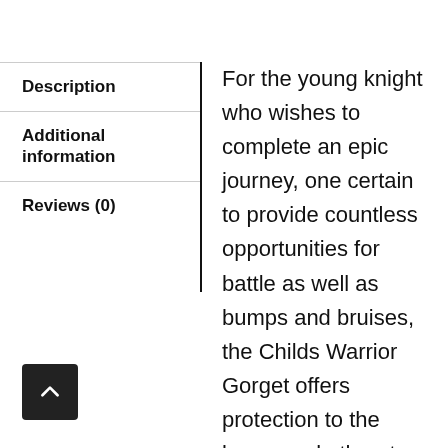Description
Additional information
Reviews (0)
For the young knight who wishes to complete an epic journey, one certain to provide countless opportunities for battle as well as bumps and bruises, the Childs Warrior Gorget offers protection to the lower neck, throat, and thorax. Crafted from 18-gauge mild steel, the gorget fits around the upper chest. It easily secures to a cuirass and other attachments via two adjustable buckle straps